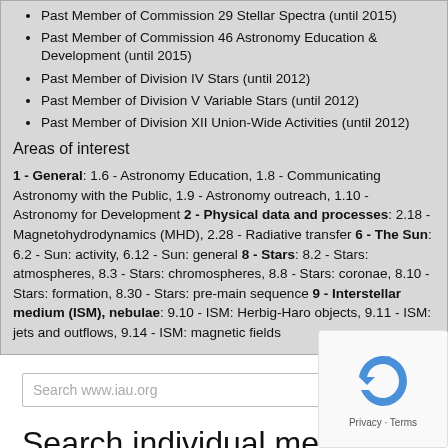Past Member of Commission 29 Stellar Spectra (until 2015)
Past Member of Commission 46 Astronomy Education & Development (until 2015)
Past Member of Division IV Stars (until 2012)
Past Member of Division V Variable Stars (until 2012)
Past Member of Division XII Union-Wide Activities (until 2012)
Areas of interest
1 - General: 1.6 - Astronomy Education, 1.8 - Communicating Astronomy with the Public, 1.9 - Astronomy outreach, 1.10 - Astronomy for Development 2 - Physical data and processes: 2.18 - Magnetohydrodynamics (MHD), 2.28 - Radiative transfer 6 - The Sun: 6.2 - Sun: activity, 6.12 - Sun: general 8 - Stars: 8.2 - Stars: atmospheres, 8.3 - Stars: chromospheres, 8.8 - Stars: coronae, 8.10 - Stars: formation, 8.30 - Stars: pre-main sequence 9 - Interstellar medium (ISM), nebulae: 9.10 - ISM: Herbig-Haro objects, 9.11 - ISM: jets and outflows, 9.14 - ISM: magnetic fields
Search www.iau.org
Search individual members